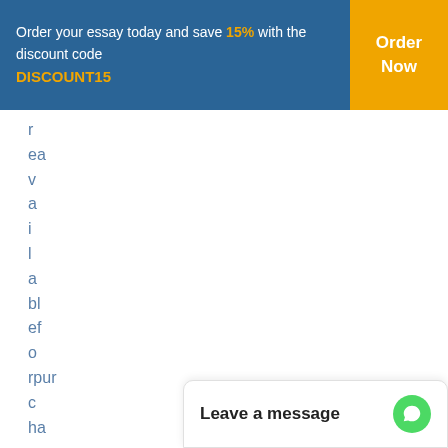Order your essay today and save 15% with the discount code DISCOUNT15
r
ea
v
a
i
l
a
bl
ef
o
rpur
c
ha
s
edi
r
e
c
t